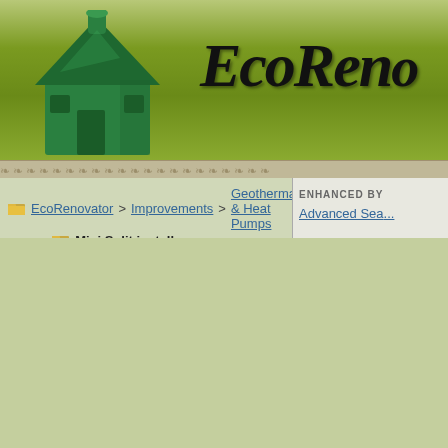[Figure (screenshot): EcoRenovator website header banner with green monopoly-style house icon on the left and 'EcoReno' text (partial, site title cut off) on olive green gradient background]
EcoRenovator > Improvements > Geothermal & Heat Pumps | Mini Split install | ENHANCED BY | Advanced Sea...